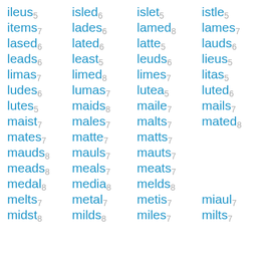ileus5 isled6 islet5 istle5
items7 lades6 lamed8 lames7
lased6 lated6 latte5 lauds6
leads6 least5 leuds6 lieus5
limas7 limed8 limes7 litas5
ludes6 lumas7 lutea5 luted6
lutes5 maids8 maile7 mails7
maist7 males7 malts7 mated8
mates7 matte7 matts7
mauds8 mauls7 mauts7
meads8 meals7 meats7
medal8 media8 melds8
melts7 metal7 metis7 miaul7
midst8 milds8 miles7 milts7